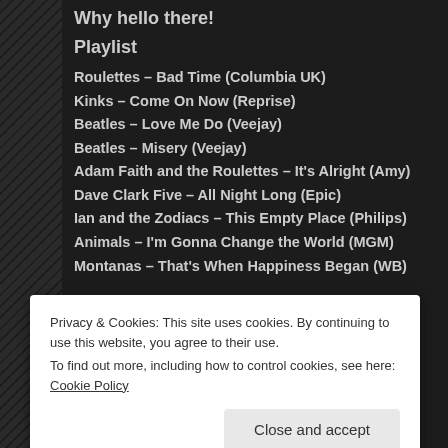Why hello there!
Playlist
Roulettes – Bad Time (Columbia UK)
Kinks – Come On Now (Reprise)
Beatles – Love Me Do (Veejay)
Beatles – Misery (Veejay)
Adam Faith and the Roulettes – It's Alright (Amy)
Dave Clark Five – All Night Long (Epic)
Ian and the Zodiacs – This Empty Place (Philips)
Animals – I'm Gonna Change the World (MGM)
Montanas – That's When Happiness Began (WB)
Privacy & Cookies: This site uses cookies. By continuing to use this website, you agree to their use. To find out more, including how to control cookies, see here: Cookie Policy
Close and accept